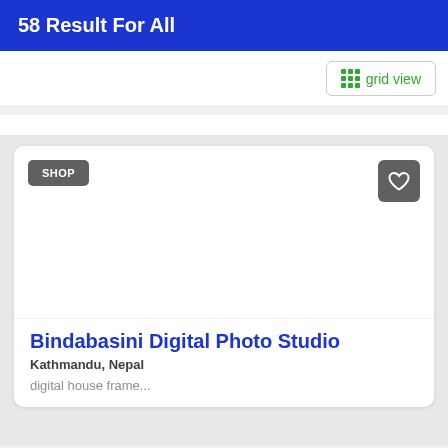58 Result For All
[Figure (screenshot): Grid view toggle button with green grid icon and 'grid view' label]
[Figure (screenshot): Shop listing card with SHOP badge, heart/favorite button, blank white image area, title 'Bindabasini Digital Photo Studio', location 'Kathmandu, Nepal', description 'digital house frame...']
Bindabasini Digital Photo Studio
Kathmandu, Nepal
digital house frame...